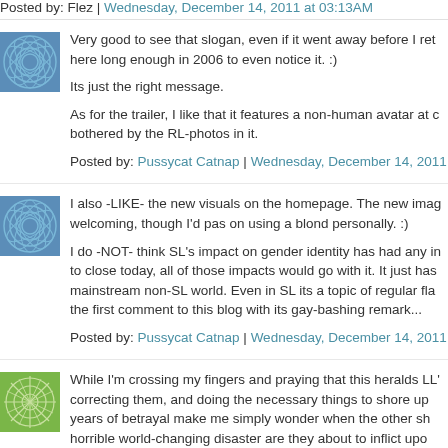Posted by: Flez | Wednesday, December 14, 2011 at 03:13AM
[Figure (illustration): Blue circular pattern avatar icon]
Very good to see that slogan, even if it went away before I ret here long enough in 2006 to even notice it. :)

Its just the right message.

As for the trailer, I like that it features a non-human avatar at c bothered by the RL-photos in it.
Posted by: Pussycat Catnap | Wednesday, December 14, 2011
[Figure (illustration): Blue circular pattern avatar icon]
I also -LIKE- the new visuals on the homepage. The new imag welcoming, though I'd pas on using a blond personally. :)

I do -NOT- think SL's impact on gender identity has had any in to close today, all of those impacts would go with it. It just has mainstream non-SL world. Even in SL its a topic of regular fla the first comment to this blog with its gay-bashing remark...
Posted by: Pussycat Catnap | Wednesday, December 14, 2011
[Figure (illustration): Green starburst pattern avatar icon]
While I'm crossing my fingers and praying that this heralds LL' correcting them, and doing the necessary things to shore up years of betrayal make me simply wonder when the other sh horrible world-changing disaster are they about to inflict upo